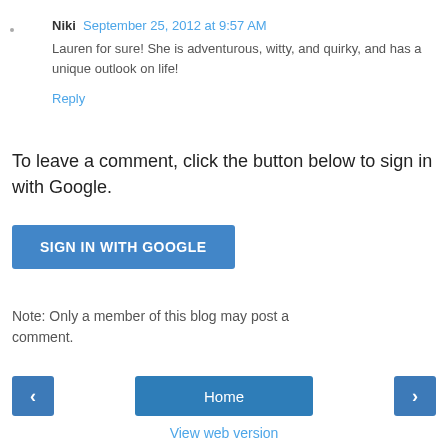Niki  September 25, 2012 at 9:57 AM
Lauren for sure! She is adventurous, witty, and quirky, and has a unique outlook on life!
Reply
To leave a comment, click the button below to sign in with Google.
SIGN IN WITH GOOGLE
Note: Only a member of this blog may post a comment.
Home
View web version
Powered by Blogger.